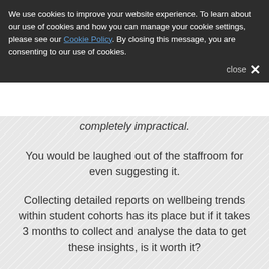We use cookies to improve your website experience. To learn about our use of cookies and how you can manage your cookie settings, please see our Cookie Policy. By closing this message, you are consenting to our use of cookies. close ✕
completely impractical.
You would be laughed out of the staffroom for even suggesting it.
Collecting detailed reports on wellbeing trends within student cohorts has its place but if it takes 3 months to collect and analyse the data to get these insights, is it worth it?
On one side of the coin, absolutely.
However, on the other, it leaves the window open for potential concerns to manifest and/or escalate.